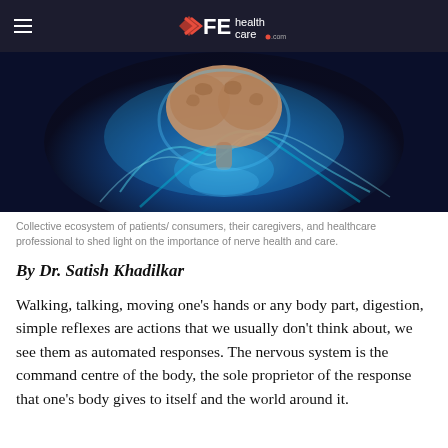FE health care .com
[Figure (photo): Brain illustration with blue glowing energy/flames surrounding it on dark blue background]
Collective ecosystem of patients/ consumers, their caregivers, and healthcare professional to shed light on the importance of nerve health and care.
By Dr. Satish Khadilkar
Walking, talking, moving one’s hands or any body part, digestion, simple reflexes are actions that we usually don’t think about, we see them as automated responses. The nervous system is the command centre of the body, the sole proprietor of the response that one’s body gives to itself and the world around it.